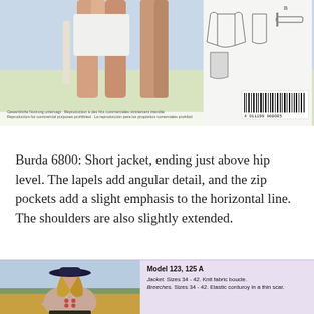[Figure (photo): Burda pattern 6800 cover showing fashion model and jacket pattern sketches with barcode]
Burda 6800: Short jacket, ending just above hip level.  The lapels add angular detail, and the zip pockets add a slight emphasis to the horizontal line.  The shoulders are also slightly extended.
[Figure (photo): Fashion photo of woman wearing tweed jacket and hat in outdoor field setting]
Model 123, 125 A
Jacket. Sizes 34 - 42. Knit fabric boucle.
Breeches. Sizes 34 - 42. Elastic corduroy in a thin scar.